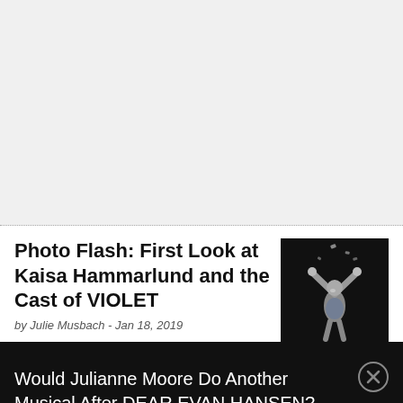Photo Flash: First Look at Kaisa Hammarlund and the Cast of VIOLET
by Julie Musbach - Jan 18, 2019
[Figure (photo): A performer on stage reaching upward with arms raised, dark background with scattered paper]
Would Julianne Moore Do Another Musical After DEAR EVAN HANSEN?